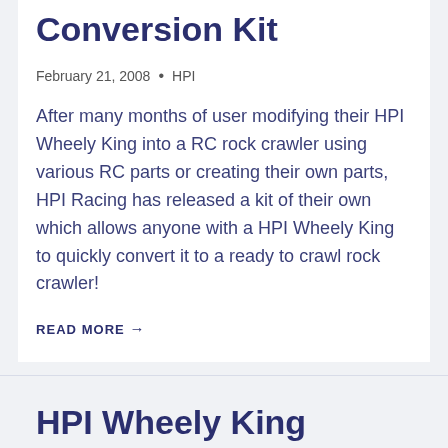Conversion Kit
February 21, 2008  •  HPI
After many months of user modifying their HPI Wheely King into a RC rock crawler using various RC parts or creating their own parts, HPI Racing has released a kit of their own which allows anyone with a HPI Wheely King to quickly convert it to a ready to crawl rock crawler!
READ MORE →
HPI Wheely King without